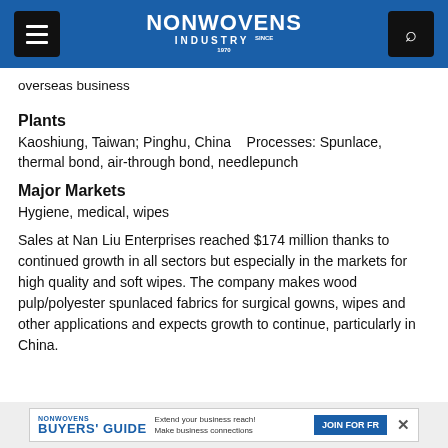NONWOVENS INDUSTRY
overseas business
Plants
Kaoshiung, Taiwan; Pinghu, China   Processes: Spunlace, thermal bond, air-through bond, needlepunch
Major Markets
Hygiene, medical, wipes
Sales at Nan Liu Enterprises reached $174 million thanks to continued growth in all sectors but especially in the markets for high quality and soft wipes. The company makes wood pulp/polyester spunlaced fabrics for surgical gowns, wipes and other applications and expects growth to continue, particularly in China.
NONWOVENS BUYERS' GUIDE — Extend your business reach! Make business connections — JOIN FOR FREE